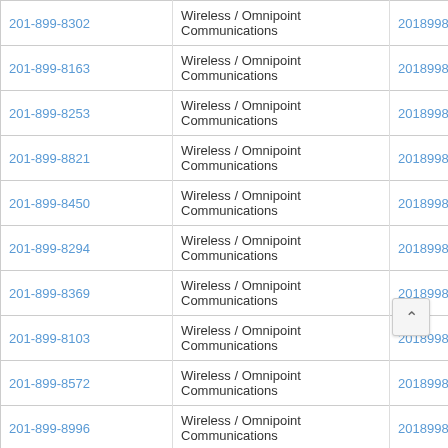| Phone Number | Carrier | Numeric |
| --- | --- | --- |
| 201-899-8302 | Wireless / Omnipoint Communications | 2018998302 |
| 201-899-8163 | Wireless / Omnipoint Communications | 2018998163 |
| 201-899-8253 | Wireless / Omnipoint Communications | 2018998253 |
| 201-899-8821 | Wireless / Omnipoint Communications | 2018998821 |
| 201-899-8450 | Wireless / Omnipoint Communications | 2018998450 |
| 201-899-8294 | Wireless / Omnipoint Communications | 2018998294 |
| 201-899-8369 | Wireless / Omnipoint Communications | 2018998369 |
| 201-899-8103 | Wireless / Omnipoint Communications | 2018998103 |
| 201-899-8572 | Wireless / Omnipoint Communications | 2018998572 |
| 201-899-8996 | Wireless / Omnipoint Communications | 2018998996 |
| 201-899-8792 | Wireless / Omnipoint Communications | 2018998792 |
| 201-899-8902 | Wireless / Omnipoint Communications | 2018998902 |
| 201-899-8257 | Wireless / Omnipoint Communications | 2018998257 |
| 201-899-8504 | Wireless / Omnipoint Communications | 2018998504 |
| 201-899-8650 | Wireless / Omnipoint Communications | 2018998650 |
| 201-899-8114 | Wireless / Omnipoint Communications | 2018998114 |
| 201-899-8656 | Wireless / Omnipoint Communications | 2018998656 |
| 201-899-8335 | Wireless / Omnipoint Communications | 2018998335 |
| 201-899-8048 | Wireless / Omnipoint Communications | 2018998048 |